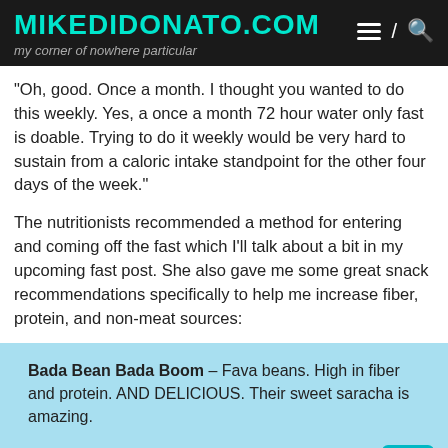MIKEDIDONATO.COM
my corner of nowhere particular
“Oh, good. Once a month. I thought you wanted to do this weekly. Yes, a once a month 72 hour water only fast is doable. Trying to do it weekly would be very hard to sustain from a caloric intake standpoint for the other four days of the week.”
The nutritionists recommended a method for entering and coming off the fast which I’ll talk about a bit in my upcoming fast post. She also gave me some great snack recommendations specifically to help me increase fiber, protein, and non-meat sources:
Bada Bean Bada Boom – Fava beans. High in fiber and protein. AND DELICIOUS. Their sweet saracha is amazing.
Hippeas – Fun cheese puff-esque chickpea snacks perfect for some mid-afternoon crunch